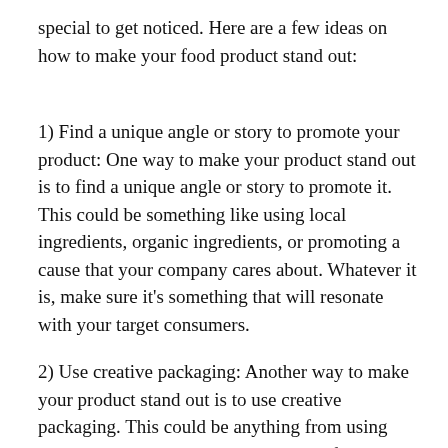special to get noticed. Here are a few ideas on how to make your food product stand out:
1) Find a unique angle or story to promote your product: One way to make your product stand out is to find a unique angle or story to promote it. This could be something like using local ingredients, organic ingredients, or promoting a cause that your company cares about. Whatever it is, make sure it’s something that will resonate with your target consumers.
2) Use creative packaging: Another way to make your product stand out is to use creative packaging. This could be anything from using unique shapes and colors to using eco-friendly materials. Whatever you do, make sure